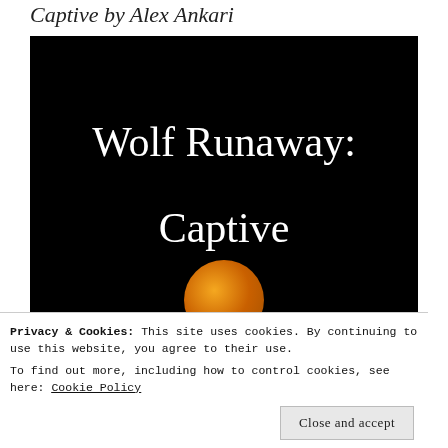Captive by Alex Ankari
[Figure (illustration): Book cover for 'Wolf Runaway: Captive' by Alex Ankari. Black background with large white serif text reading 'Wolf Runaway:' on top line and 'Captive' below it. An orange moon partially visible at bottom center. Author name 'Alex Ankari' in large italic white text at the very bottom.]
Privacy & Cookies: This site uses cookies. By continuing to use this website, you agree to their use.
To find out more, including how to control cookies, see here: Cookie Policy
Close and accept